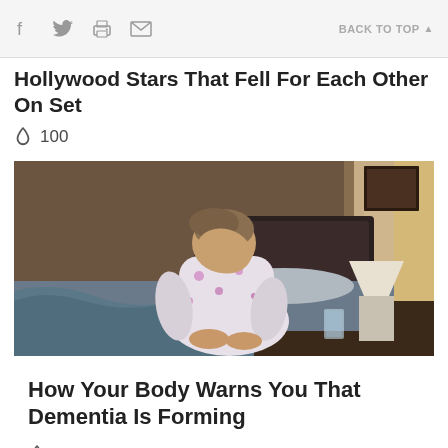f  [twitter]  [print]  [email]   BACK TO TOP ▲
Hollywood Stars That Fell For Each Other On Set
🔥 100
[Figure (photo): Elderly person in floral robe sitting on the edge of a bed in a dimly lit bedroom, head bowed, with a lamp and glass on a bedside table in the background.]
How Your Body Warns You That Dementia Is Forming
🔥 63,220
[Figure (photo): Partial view of a financial news screen showing NYSE ticker/trading floor imagery.]